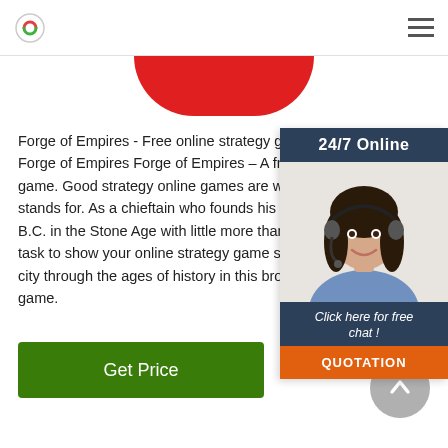[Figure (illustration): Red rounded blob shape visible at top center of page, partially cropped]
Forge of Empires - Free online strategy game Forge of Empires Forge of Empires – A free to play game. Good strategy online games are what Forge stands for. As a chieftain who founds his settlement in B.C. in the Stone Age with little more than a few, task to show your online strategy game skills and city through the ages of history in this browser based game.
[Figure (photo): 24/7 Online chat widget with photo of a smiling woman wearing a headset, with 'Click here for free chat!' text and orange QUOTATION button]
Get Price
[Figure (other): Gray circular scroll-to-top button with upward chevron arrow]